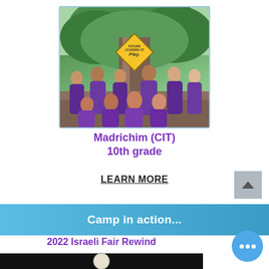[Figure (photo): Group photo of teenagers wearing purple t-shirts posing in front of a large tree. A yellow diamond-shaped sign on the tree reads 'Future Leaders at Play'. Some stand in the back row and others crouch in the front row.]
Madrichim (CIT)
10th grade
LEARN MORE
Camp in action...
2022 Israeli Fair Rewind